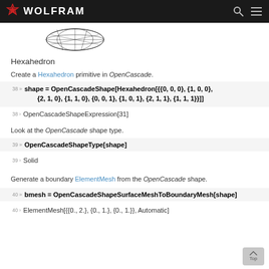WOLFRAM
[Figure (illustration): 3D wireframe mesh of an ellipsoid or similar shape in dark lines]
Hexahedron
Create a Hexahedron primitive in OpenCascade.
38 » shape = OpenCascadeShape[Hexahedron[{{0, 0, 0}, {1, 0, 0}, {2, 1, 0}, {1, 1, 0}, {0, 0, 1}, {1, 0, 1}, {2, 1, 1}, {1, 1, 1}}]]
38 › OpenCascadeShapeExpression[31]
Look at the OpenCascade shape type.
39 » OpenCascadeShapeType[shape]
39 › Solid
Generate a boundary ElementMesh from the OpenCascade shape.
40 » bmesh = OpenCascadeShapeSurfaceMeshToBoundaryMesh[shape]
40 › ElementMesh[{{0., 2.}, {0., 1.}, {0., 1.}}, Automatic]